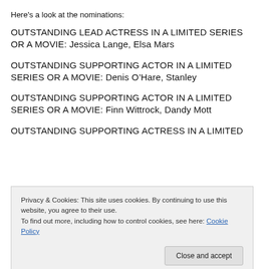Here's a look at the nominations:
OUTSTANDING LEAD ACTRESS IN A LIMITED SERIES OR A MOVIE: Jessica Lange, Elsa Mars
OUTSTANDING SUPPORTING ACTOR IN A LIMITED SERIES OR A MOVIE: Denis O’Hare, Stanley
OUTSTANDING SUPPORTING ACTOR IN A LIMITED SERIES OR A MOVIE: Finn Wittrock, Dandy Mott
OUTSTANDING SUPPORTING ACTRESS IN A LIMITED
Privacy & Cookies: This site uses cookies. By continuing to use this website, you agree to their use.
To find out more, including how to control cookies, see here: Cookie Policy
Close and accept
OUTSTANDING SUPPORTING ACTRESS IN A LIMITED